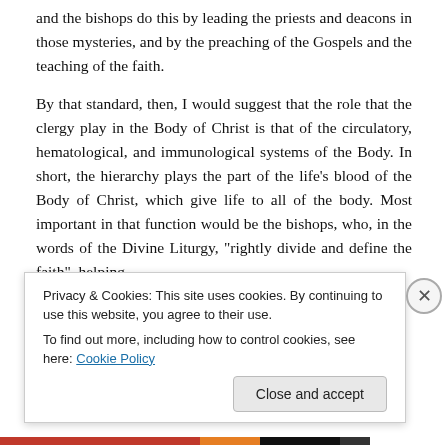and the bishops do this by leading the priests and deacons in those mysteries, and by the preaching of the Gospels and the teaching of the faith.
By that standard, then, I would suggest that the role that the clergy play in the Body of Christ is that of the circulatory, hematological, and immunological systems of the Body. In short, the hierarchy plays the part of the life’s blood of the Body of Christ, which give life to all of the body. Most important in that function would be the bishops, who, in the words of the Divine Liturgy, “rightly divide and define the faith”, helping
Privacy & Cookies: This site uses cookies. By continuing to use this website, you agree to their use.
To find out more, including how to control cookies, see here: Cookie Policy